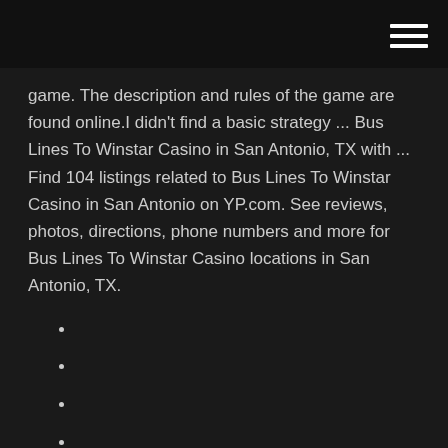[hamburger menu icon]
game. The description and rules of the game are found online.I didn't find a basic strategy ... Bus Lines To Winstar Casino in San Antonio, TX with ... Find 104 listings related to Bus Lines To Winstar Casino in San Antonio on YP.com. See reviews, photos, directions, phone numbers and more for Bus Lines To Winstar Casino locations in San Antonio, TX.